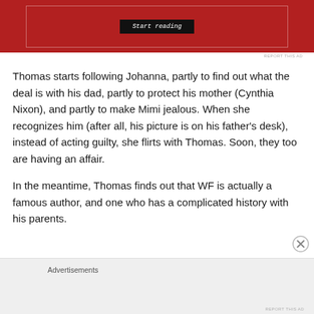[Figure (screenshot): Red advertisement banner with a dark 'Start reading' button inside a white-bordered rectangle]
REPORT THIS AD
Thomas starts following Johanna, partly to find out what the deal is with his dad, partly to protect his mother (Cynthia Nixon), and partly to make Mimi jealous. When she recognizes him (after all, his picture is on his father's desk), instead of acting guilty, she flirts with Thomas. Soon, they too are having an affair.
In the meantime, Thomas finds out that WF is actually a famous author, and one who has a complicated history with his parents.
Advertisements
REPORT THIS AD